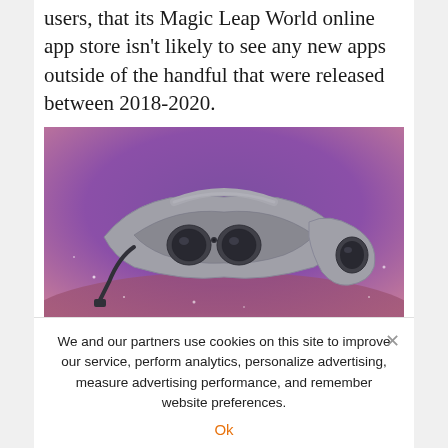users, that its Magic Leap World online app store isn't likely to see any new apps outside of the handful that were released between 2018-2020.
[Figure (photo): Photo of Magic Leap AR headset hardware — a silver/metallic AR headset with lens modules and accompanying controller, photographed against a purple-to-pink gradient background with sparkle effects.]
We and our partners use cookies on this site to improve our service, perform analytics, personalize advertising, measure advertising performance, and remember website preferences.
Ok